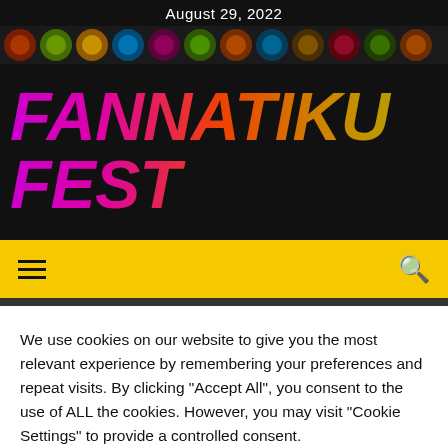August 29, 2022
[Figure (illustration): Colorful circular patterns banner strip]
FANNATIKU FEST
[Figure (screenshot): Navigation bar with hamburger menu and search icon on yellow background]
We use cookies on our website to give you the most relevant experience by remembering your preferences and repeat visits. By clicking "Accept All", you consent to the use of ALL the cookies. However, you may visit "Cookie Settings" to provide a controlled consent.
Cookie Settings | Accept All